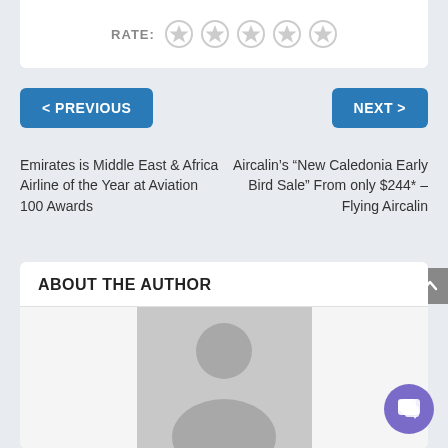RATE:
[Figure (other): Five empty star rating icons]
< PREVIOUS
NEXT >
Emirates is Middle East & Africa Airline of the Year at Aviation 100 Awards
Aircalin’s “New Caledonia Early Bird Sale” From only $244* – Flying Aircalin
ABOUT THE AUTHOR
[Figure (illustration): Default user avatar placeholder image - gray silhouette of a person on light gray background]